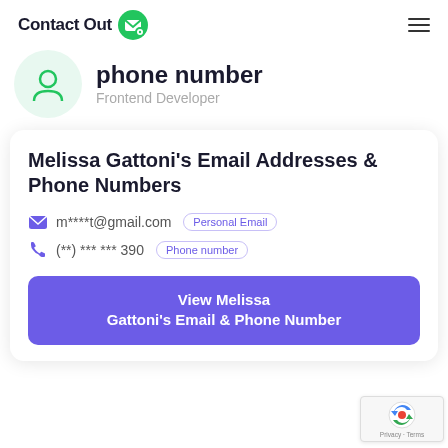ContactOut
phone number
Frontend Developer
Melissa Gattoni's Email Addresses & Phone Numbers
m****t@gmail.com  Personal Email
(**) *** *** 390  Phone number
View Melissa Gattoni's Email & Phone Number